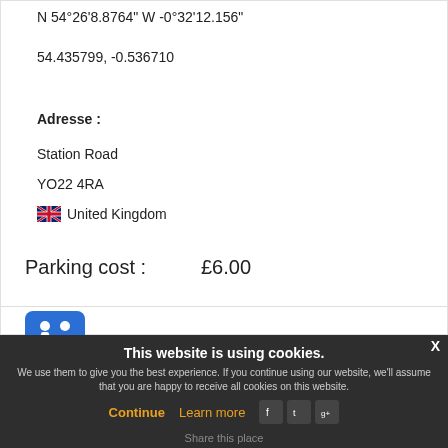N 54°26'8.8764" W -0°32'12.156"
54.435799, -0.536710
Adresse :
Station Road
YO22 4RA
United Kingdom
Parking cost :    £6.00
[Figure (infographic): Blue restroom/toilet icon showing male and female figures side by side]
This website is using cookies.
We use them to give you the best experience. If you continue using our website, we'll assume that you are happy to receive all cookies on this website.
Continue   Learn more
Share this place